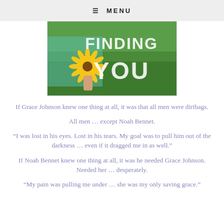≡ MENU
[Figure (photo): Book cover for 'Finding You' showing a person holding a sunflower in a grassy field, with the title text 'FINDING YOU' overlaid in white letters]
If Grace Johnson knew one thing at all, it was that all men were dirtbags.
All men … except Noah Bennet.
“I was lost in his eyes. Lost in his tears. My goal was to pull him out of the darkness … even if it dragged me in as well.”
If Noah Bennet knew one thing at all, it was he needed Grace Johnson. Needed her … desperately.
“My pain was pulling me under … she was my only saving grace.”